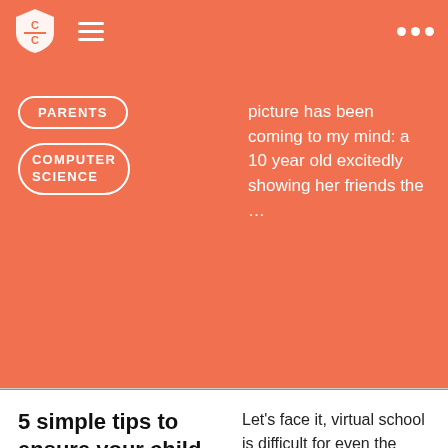C/C (logo) [hamburger menu] [dots menu]
PARENTS
COMPUTER SCIENCE
picture has been coming to my mind: a 10 year old excitedly showing her friends the …
5 simple tips to ensure your child succeeds in online learning
STUDY SKILLS
MIDDLE SCHOOL
Let's face it, virtual school is difficult for even the most gifted students. Constant distractions, low motivation, and unstructured days provide a unique challenge for at-home learning. Here are 5 simple tips to ensure your child not only stays on-track, but thrives in